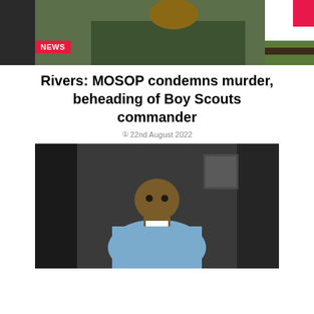[Figure (photo): Top banner area with photo of man in military/scout uniform (green) and a smaller nature/scene photo on the right, with a red NEWS badge overlay]
Rivers: MOSOP condemns murder, beheading of Boy Scouts commander
22nd August 2022
[Figure (photo): Photo of a man in a light blue traditional Nigerian attire standing indoors]